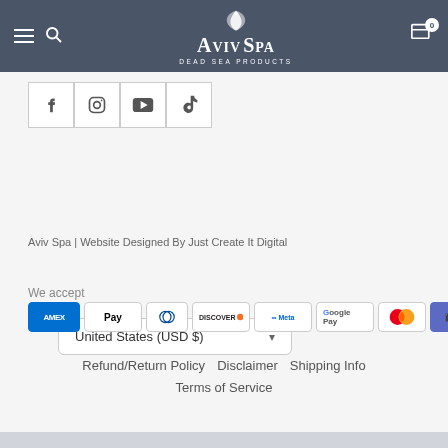Aviv Spa Dead Sea Products — navigation bar with logo, hamburger menu, search, cart
[Figure (screenshot): Social media icons row: Facebook, Instagram, YouTube, TikTok in bordered boxes]
United States (USD $)
Aviv Spa | Website Designed By Just Create It Digital
We accept
[Figure (infographic): Payment method logos: American Express, Apple Pay, Diners Club, Discover, Meta Pay, Google Pay, Mastercard, Shop Pay, Visa]
Refund/Return Policy   Disclaimer   Shipping Info
Terms of Service